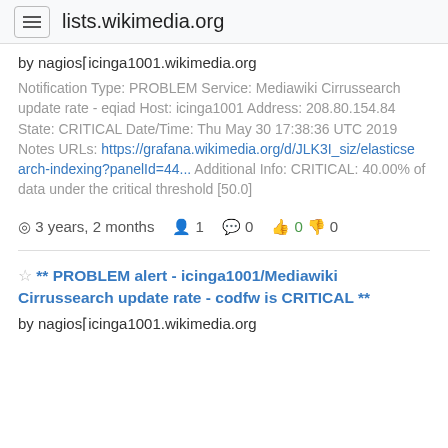lists.wikimedia.org
by nagios⌈icinga1001.wikimedia.org
Notification Type: PROBLEM Service: Mediawiki Cirrussearch update rate - eqiad Host: icinga1001 Address: 208.80.154.84 State: CRITICAL Date/Time: Thu May 30 17:38:36 UTC 2019 Notes URLs: https://grafana.wikimedia.org/d/JLK3I_siz/elasticsearch-indexing?panelId=44... Additional Info: CRITICAL: 40.00% of data under the critical threshold [50.0]
⊙ 3 years, 2 months  👤 1  💬 0  👍 0 👎 0
** PROBLEM alert - icinga1001/Mediawiki Cirrussearch update rate - codfw is CRITICAL **
by nagios⌈icinga1001.wikimedia.org